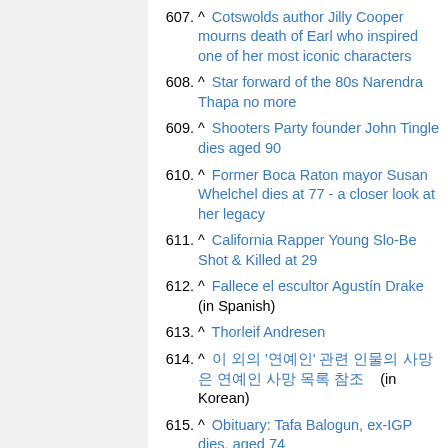607. ^ Cotswolds author Jilly Cooper mourns death of Earl who inspired one of her most iconic characters
608. ^ Star forward of the 80s Narendra Thapa no more
609. ^ Shooters Party founder John Tingle dies aged 90
610. ^ Former Boca Raton mayor Susan Whelchel dies at 77 - a closer look at her legacy
611. ^ California Rapper Young Slo-Be Shot & Killed at 29
612. ^ Fallece el escultor Agustín Drake (in Spanish)
613. ^ Thorleif Andresen
614. ^ 이 외의 '연예인' 관련 인물의 사망은 연예인 사망 목록 참조 (in Korean)
615. ^ Obituary: Tafa Balogun, ex-IGP dies, aged 74
616. ^ Former NASCAR Driver Neil